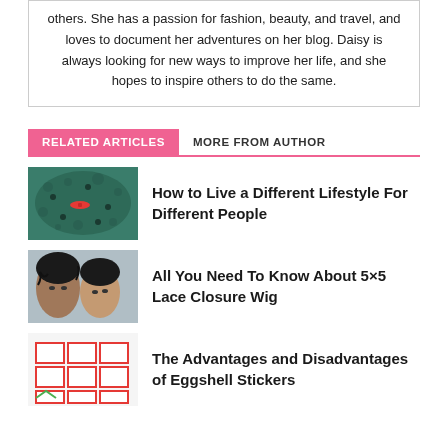others. She has a passion for fashion, beauty, and travel, and loves to document her adventures on her blog. Daisy is always looking for new ways to improve her life, and she hopes to inspire others to do the same.
RELATED ARTICLES   MORE FROM AUTHOR
[Figure (photo): Aerial view of people on water, kayaking or swimming, with a red kayak visible]
How to Live a Different Lifestyle For Different People
[Figure (photo): Two women with curly hair wigs posing for photo]
All You Need To Know About 5×5 Lace Closure Wig
[Figure (photo): Eggshell stickers with red outlines on white background]
The Advantages and Disadvantages of Eggshell Stickers